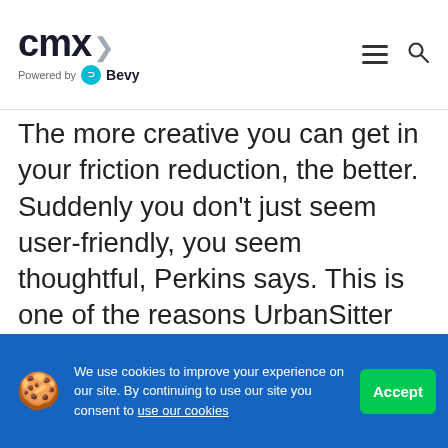CMX Powered by Bevy
The more creative you can get in your friction reduction, the better. Suddenly you don't just seem user-friendly, you seem thoughtful, Perkins says. This is one of the reasons UrbanSitter pursued co-promotions with companies like Opentable. Knowing that their users include tech savy parents looking to plan a night out, the company made it that much easier to have
We use cookies to improve your experience on our site. By continuing to use our site you consent to use our cookies